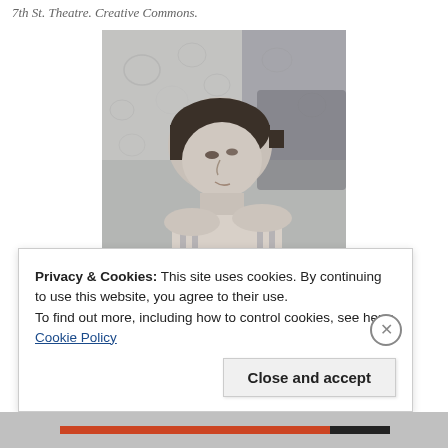7th St. Theatre. Creative Commons.
[Figure (photo): Black and white photograph of a young person with a short bob haircut, looking to the side, wearing a striped top, with a floral wallpaper background.]
Privacy & Cookies: This site uses cookies. By continuing to use this website, you agree to their use.
To find out more, including how to control cookies, see here: Cookie Policy
Close and accept